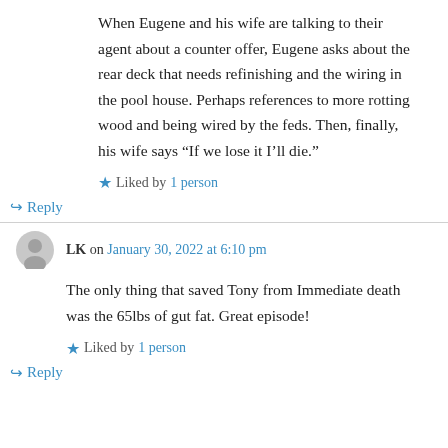When Eugene and his wife are talking to their agent about a counter offer, Eugene asks about the rear deck that needs refinishing and the wiring in the pool house. Perhaps references to more rotting wood and being wired by the feds. Then, finally, his wife says “If we lose it I’ll die.”
Liked by 1 person
↳ Reply
LK on January 30, 2022 at 6:10 pm
The only thing that saved Tony from Immediate death was the 65lbs of gut fat. Great episode!
Liked by 1 person
↳ Reply